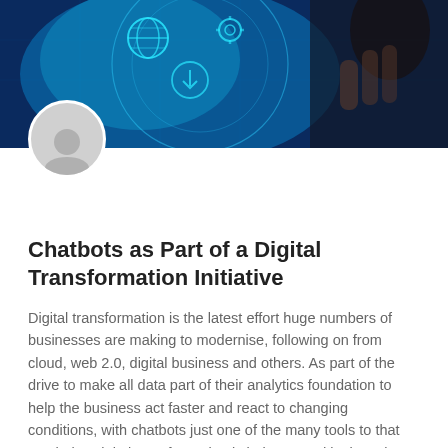[Figure (photo): Hero image showing a digital technology background with glowing circular icons (globe, settings gear, download arrow) on a blue-lit circuit board / HUD-style overlay. A hand is visible in the upper right interacting with a digital interface. Below the image, a grey circular avatar/profile icon placeholder is overlaid at the bottom-left of the hero area.]
Chatbots as Part of a Digital Transformation Initiative
Digital transformation is the latest effort huge numbers of businesses are making to modernise, following on from cloud, web 2.0, digital business and others. As part of the drive to make all data part of their analytics foundation to help the business act faster and react to changing conditions, with chatbots just one of the many tools to that can help. Digital transformation is being touted by just about every vendor, all of them offering solutions to modernise traditional processes. They aim to help businesses add AI and cloud services to make data more accessible, to rationalise and streamline